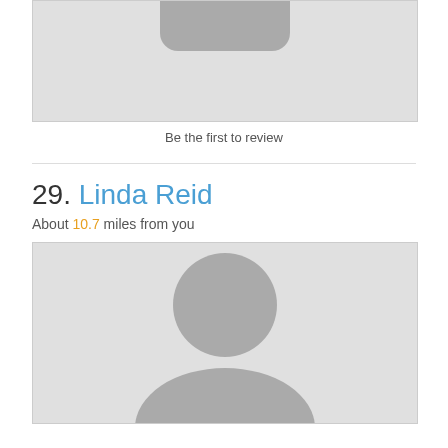[Figure (photo): Placeholder avatar image (top, partially cropped) showing grey silhouette on light grey background]
Be the first to review
29. Linda Reid
About 10.7 miles from you
[Figure (photo): Placeholder avatar image showing full grey person silhouette (head and shoulders) on light grey background]